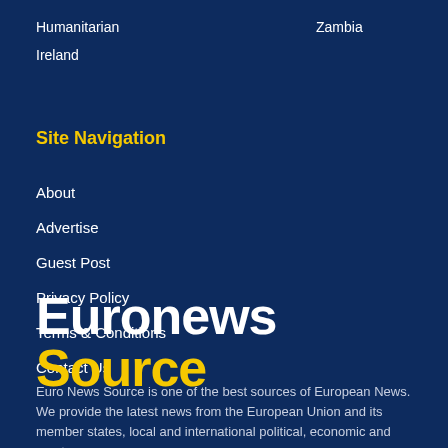Humanitarian
Zambia
Ireland
Site Navigation
About
Advertise
Guest Post
Privacy Policy
Terms & Conditions
Contact Us
Euronews Source
Euro News Source is one of the best sources of European News. We provide the latest news from the European Union and its member states, local and international political, economic and sports news.